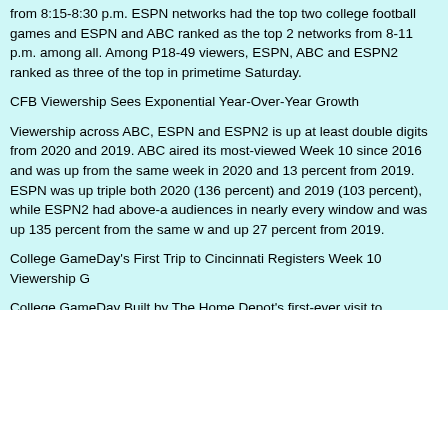from 8:15-8:30 p.m. ESPN networks had the top two college football games and ESPN and ABC ranked as the top 2 networks from 8-11 p.m. among all. Among P18-49 viewers, ESPN, ABC and ESPN2 ranked as three of the top in primetime Saturday.
CFB Viewership Sees Exponential Year-Over-Year Growth
Viewership across ABC, ESPN and ESPN2 is up at least double digits from 2020 and 2019. ABC aired its most-viewed Week 10 since 2016 and was up from the same week in 2020 and 13 percent from 2019. ESPN was up triple both 2020 (136 percent) and 2019 (103 percent), while ESPN2 had above-a audiences in nearly every window and was up 135 percent from the same w and up 27 percent from 2019.
College GameDay's First Trip to Cincinnati Registers Week 10 Viewership G
College GameDay Built by The Home Depot's first-ever visit to Cincinnati re 1,826,000 viewers, tops among Saturday morning college football pregame 2,376,000 viewers in the final hour. The show is up eight percent and 47 per Week 10 telecasts in 2019 and 2020, respectively, and this is the second str growth among P2+ viewers over the 2019 season.
- 30 -